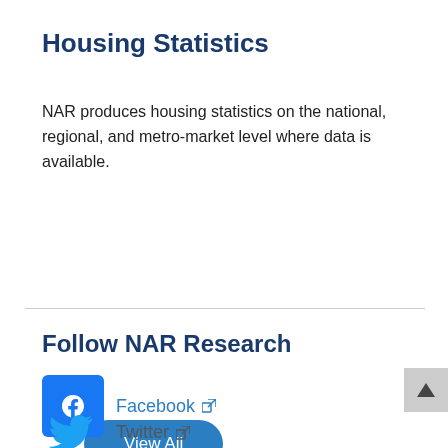Housing Statistics
NAR produces housing statistics on the national, regional, and metro-market level where data is available.
View All
Follow NAR Research
Facebook
Twitter